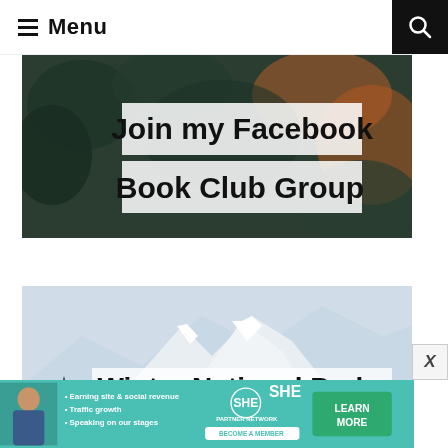≡ Menu
[Figure (photo): Facebook Book Club Group banner image with dark botanical/foliage background and white text overlay reading 'Join my Facebook Book Club Group']
[Figure (photo): Winter National Parks banner image showing snow-covered mountain peaks with text overlay 'Winter National Parks']
[Figure (infographic): SHE Partner Network advertisement banner: photo of woman, bullet points 'Earning site & social revenue', 'Traffic growth', 'Speaking on our stages', SHE PARTNER NETWORK / BECOME A MEMBER logo, and 'LEARN MORE' green button]